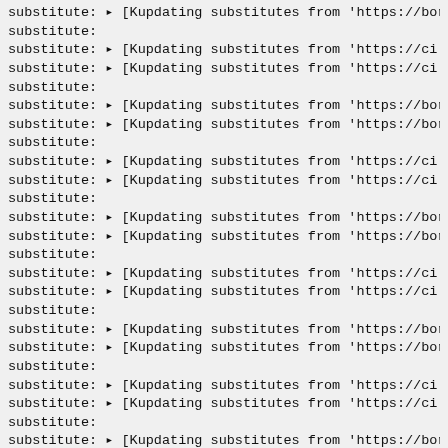substitute: ▸ [Kupdating substitutes from 'https://bordea
substitute:
substitute: ▸ [Kupdating substitutes from 'https://ci.gui
substitute: ▸ [Kupdating substitutes from 'https://ci.gui
substitute:
substitute: ▸ [Kupdating substitutes from 'https://bordea
substitute: ▸ [Kupdating substitutes from 'https://bordea
substitute:
substitute: ▸ [Kupdating substitutes from 'https://ci.gui
substitute: ▸ [Kupdating substitutes from 'https://ci.gui
substitute:
substitute: ▸ [Kupdating substitutes from 'https://bordea
substitute: ▸ [Kupdating substitutes from 'https://bordea
substitute:
substitute: ▸ [Kupdating substitutes from 'https://ci.gui
substitute: ▸ [Kupdating substitutes from 'https://ci.gui
substitute:
substitute: ▸ [Kupdating substitutes from 'https://bordea
substitute: ▸ [Kupdating substitutes from 'https://bordea
substitute:
substitute: ▸ [Kupdating substitutes from 'https://ci.gui
substitute: ▸ [Kupdating substitutes from 'https://ci.gui
substitute:
substitute: ▸ [Kupdating substitutes from 'https://bordea
substitute: ▸ [Kupdating substitutes from 'https://bordo